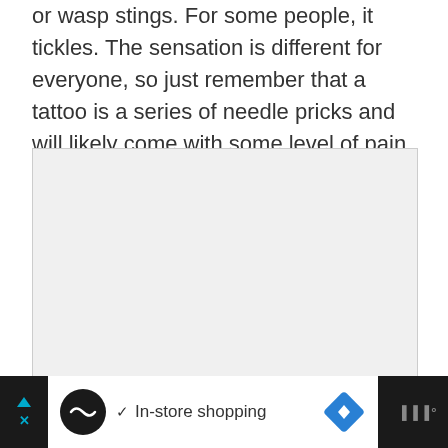or wasp stings. For some people, it tickles. The sensation is different for everyone, so just remember that a tattoo is a series of needle pricks and will likely come with some level of pain.
[Figure (other): A light gray rectangular placeholder image area]
Ad: In-store shopping